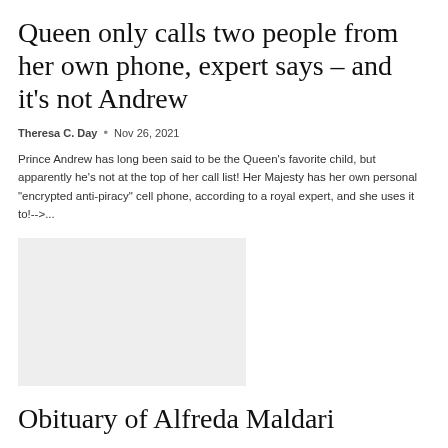Queen only calls two people from her own phone, expert says – and it's not Andrew
Theresa C. Day  •  Nov 26, 2021
Prince Andrew has long been said to be the Queen's favorite child, but apparently he's not at the top of her call list! Her Majesty has her own personal "encrypted anti-piracy" cell phone, according to a royal expert, and she uses it to!-->...
[Figure (photo): Placeholder image, light gray rectangle]
Obituary of Alfreda Maldari